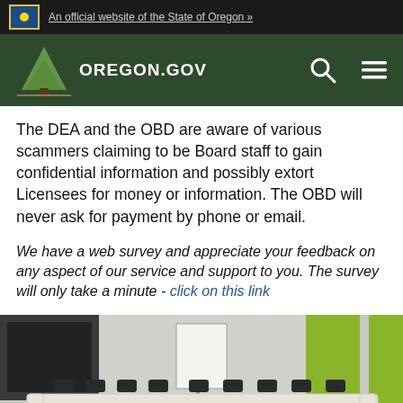An official website of the State of Oregon »
[Figure (logo): Oregon.gov logo with tree icon on dark green navigation bar with search and menu icons]
The DEA and the OBD are aware of various scammers claiming to be Board staff to gain confidential information and possibly extort Licensees for money or information. The OBD will never ask for payment by phone or email.
We have a web survey and appreciate your feedback on any aspect of our service and support to you. The survey will only take a minute - click on this link
[Figure (photo): Conference room with U-shaped table arrangement, chairs, whiteboard, and green accent walls]